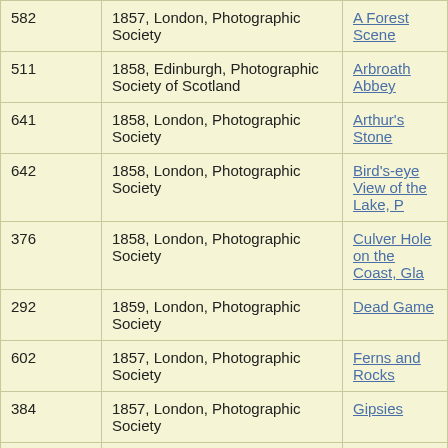| Number | Exhibition | Title |
| --- | --- | --- |
| 582 | 1857, London, Photographic Society | A Forest Scene |
| 511 | 1858, Edinburgh, Photographic Society of Scotland | Arbroath Abbey |
| 641 | 1858, London, Photographic Society | Arthur's Stone |
| 642 | 1858, London, Photographic Society | Bird's-eye View of the Lake, P… |
| 376 | 1858, London, Photographic Society | Culver Hole on the Coast, Gla… |
| 292 | 1859, London, Photographic Society | Dead Game |
| 602 | 1857, London, Photographic Society | Ferns and Rocks |
| 384 | 1857, London, Photographic Society | Gipsies |
| 140 | 1858, Edinburgh, Photographic… | Glammis Castle |